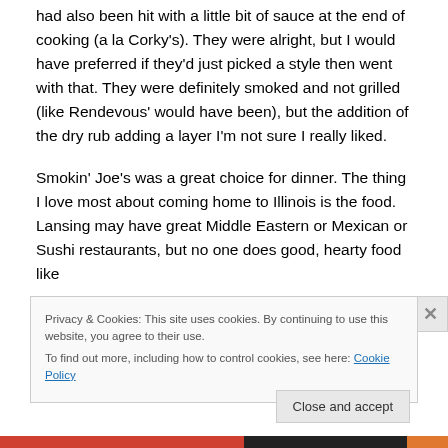had also been hit with a little bit of sauce at the end of cooking (a la Corky's).  They were alright, but I would have preferred if they'd just picked a style then went with that.  They were definitely smoked and not grilled (like Rendevous' would have been), but the addition of the dry rub adding a layer I'm not sure I really liked.
Smokin' Joe's was a great choice for dinner.  The thing I love most about coming home to Illinois is the food.  Lansing may have great Middle Eastern or Mexican or Sushi restaurants, but no one does good, hearty food like
Privacy & Cookies: This site uses cookies. By continuing to use this website, you agree to their use.
To find out more, including how to control cookies, see here: Cookie Policy
Close and accept